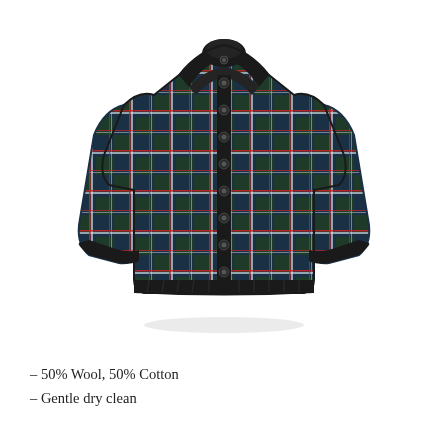[Figure (photo): A plaid/tartan cardigan jacket with dark navy/black background and red and white overcheck pattern. The jacket has a high collar, button-front closure with snap buttons, long sleeves, and dark ribbed cuffs, collar and hem.]
– 50% Wool, 50% Cotton
– Gentle dry clean